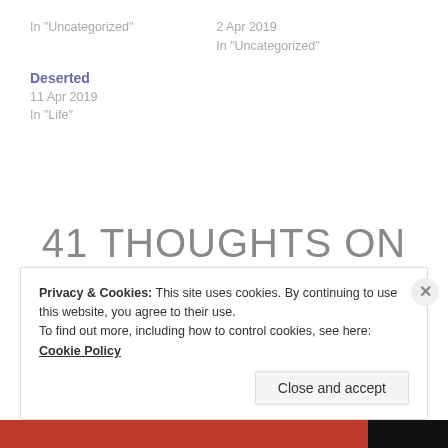In "Uncategorized"
2 Apr 2019
In "Uncategorized"
Deserted
11 Apr 2019
In "Life"
41 THOUGHTS ON “RARE DISEASE DAY : 28
Privacy & Cookies: This site uses cookies. By continuing to use this website, you agree to their use.
To find out more, including how to control cookies, see here: Cookie Policy
Close and accept